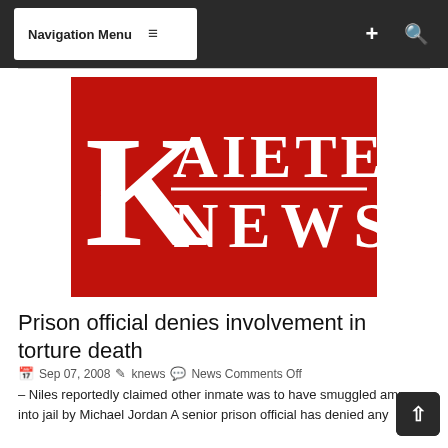Navigation Menu
[Figure (logo): Kaieteur News logo — red background with large white serif K and text KAIETEUR NEWS]
Prison official denies involvement in torture death
Sep 07, 2008  knews  News Comments Off
– Niles reportedly claimed other inmate was to have smuggled ammo into jail by Michael Jordan A senior prison official has denied any